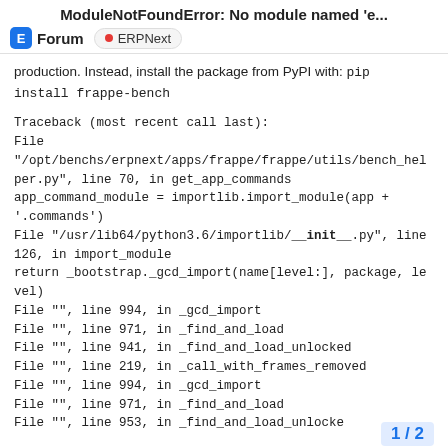ModuleNotFoundError: No module named 'e...
Forum  ERPNext
production. Instead, install the package from PyPI with: pip install frappe-bench
Traceback (most recent call last):
File "/opt/benchs/erpnext/apps/frappe/frappe/utils/bench_helper.py", line 70, in get_app_commands
app_command_module = importlib.import_module(app + '.commands')
File "/usr/lib64/python3.6/importlib/__init__.py", line 126, in import_module
return _bootstrap._gcd_import(name[level:], package, level)
File "", line 994, in _gcd_import
File "", line 971, in _find_and_load
File "", line 941, in _find_and_load_unlocked
File "", line 219, in _call_with_frames_removed
File "", line 994, in _gcd_import
File "", line 971, in _find_and_load
File "", line 953, in _find_and_load_unlocked
1 / 2